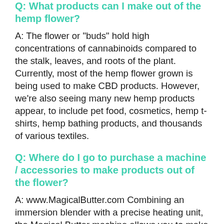Q: What products can I make out of the hemp flower?
A: The flower or "buds" hold high concentrations of cannabinoids compared to the stalk, leaves, and roots of the plant. Currently, most of the hemp flower grown is being used to make CBD products. However, we're also seeing many new hemp products appear, to include pet food, cosmetics, hemp t-shirts, hemp bathing products, and thousands of various textiles.
Q: Where do I go to purchase a machine / accessories to make products out of the flower?
A: www.MagicalButter.com Combining an immersion blender with a precise heating unit, the Magical Butter machine allows you to make products, from your hemp flower, right at home!  Easily infuse your